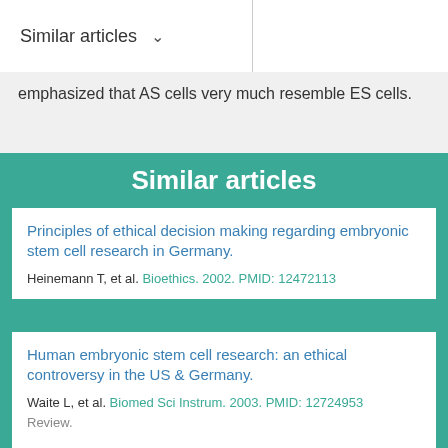Similar articles
emphasized that AS cells very much resemble ES cells.
Similar articles
Principles of ethical decision making regarding embryonic stem cell research in Germany.
Heinemann T, et al. Bioethics. 2002. PMID: 12472113
Human embryonic stem cell research: an ethical controversy in the US & Germany.
Waite L, et al. Biomed Sci Instrum. 2003. PMID: 12724953
Review.
Cloning and stem cells--handicapping the